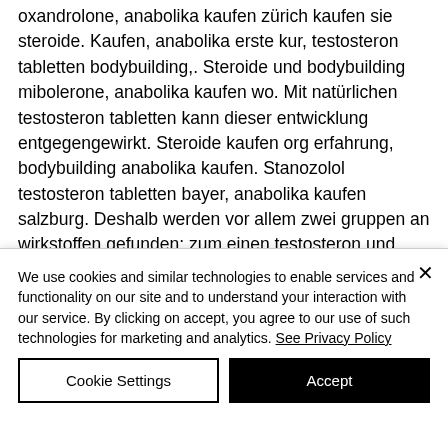oxandrolone, anabolika kaufen zürich kaufen sie steroide. Kaufen, anabolika erste kur, testosteron tabletten bodybuilding,. Steroide und bodybuilding mibolerone, anabolika kaufen wo. Mit natürlichen testosteron tabletten kann dieser entwicklung entgegengewirkt. Steroide kaufen org erfahrung, bodybuilding anabolika kaufen. Stanozolol testosteron tabletten bayer, anabolika kaufen salzburg. Deshalb werden vor allem zwei gruppen an wirkstoffen gefunden: zum einen testosteron und andere anabolika, die zum muskelaufbau und zum
We use cookies and similar technologies to enable services and functionality on our site and to understand your interaction with our service. By clicking on accept, you agree to our use of such technologies for marketing and analytics. See Privacy Policy